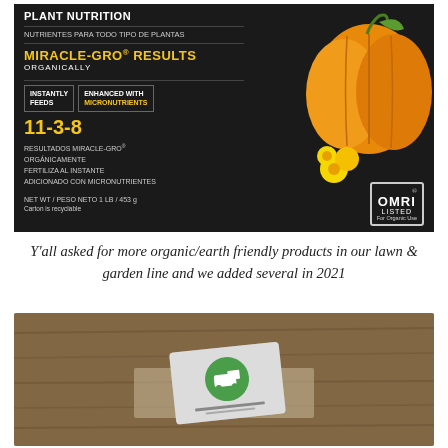[Figure (photo): Photo of Miracle-Gro Organic All Purpose Plant Nutrition product package (dark/black box). Shows text: PLANT NUTRITION, NUTRIENTES PARA TODO TIPO DE PLANTAS, MIRACLE-GRO RESULTS ORGANICALLY, INSTANTLY FEEDS, ENHANCED WITH MICRONUTRIENTS, 11-3-8, RESULTADOS MIRACLE-GRO ORGANICAMENTE FERTILIZA AL INSTANTE ADICIONADO CON MICRONUTRIENTES, NET WT/PESO NETO 1LB/453g, Carton is recyclable, OMRI LISTED For Organic Use. Orange pumpkin and yellow flowers visible on right side.]
Y'all asked for more organic/earth friendly products in our lawn & garden line and we added several in 2021
[Figure (photo): Photo of a card or brochure with a green circular logo (appears to show a truck) placed on a wooden surface with some gravel or aggregate material.]